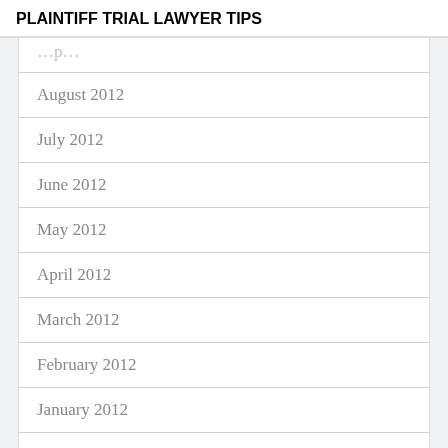PLAINTIFF TRIAL LAWYER TIPS
August 2012
July 2012
June 2012
May 2012
April 2012
March 2012
February 2012
January 2012
December 2011
November 2011